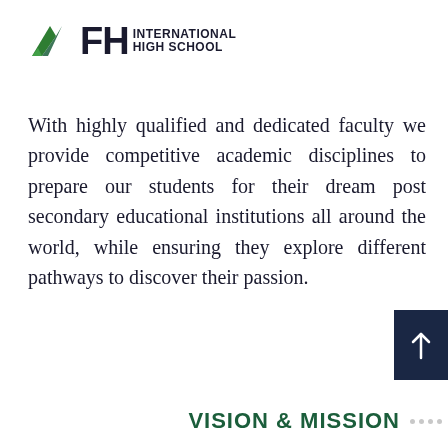FH INTERNATIONAL HIGH SCHOOL
With highly qualified and dedicated faculty we provide competitive academic disciplines to prepare our students for their dream post secondary educational institutions all around the world, while ensuring they explore different pathways to discover their passion.
ABOUT US
[Figure (other): Dark navy blue box with white upward arrow icon, scroll-to-top button]
VISION & MISSION